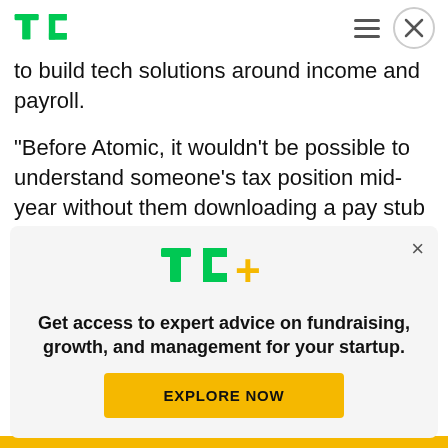TechCrunch
to build tech solutions around income and payroll.
“Before Atomic, it wouldn’t be possible to understand someone’s tax position mid-year without them downloading a pay stub and sending it to you via email,” Nachbar said.
While Column Tax only supports federal income tax fil...
[Figure (logo): TechCrunch TC+ logo with green TC letters and yellow plus sign]
Get access to expert advice on fundraising, growth, and management for your startup.
EXPLORE NOW